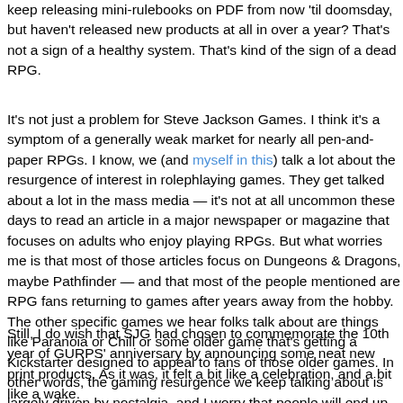keep releasing mini-rulebooks on PDF from now 'til doomsday, but haven't released new products at all in over a year? That's not a sign of a healthy system. That's kind of the sign of a dead RPG.
It's not just a problem for Steve Jackson Games. I think it's a symptom of a generally weak market for nearly all pen-and-paper RPGs. I know, we (and I include myself in this) talk a lot about the resurgence of interest in roleplaying games. They get talked about a lot in the mass media — it's not at all uncommon these days to read an article in a major newspaper or magazine that focuses on adults who enjoy playing RPGs. But what worries me is that most of those articles focus on Dungeons & Dragons, maybe Pathfinder — and that most of the people mentioned are RPG fans returning to games after years away from the hobby. The other specific games we hear folks talk about are things like Paranoia or Chill or some other older game that's getting a Kickstarter designed to appeal to fans of those older games. In other words, the gaming resurgence we keep talking about is largely driven by nostalgia, and I worry that people will end up abandoning the hobby again once they hit on something else to feel nostalgic about.
Still, I do wish that SJG had chosen to commemorate the 10th year of GURPS' anniversary by announcing some neat new print products. As it was, it felt a bit like a celebration, and a bit like a wake.